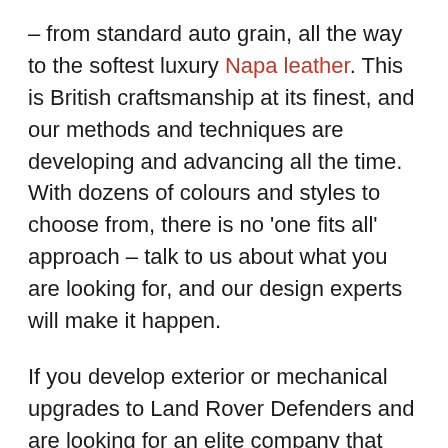– from standard auto grain, all the way to the softest luxury Napa leather. This is British craftsmanship at its finest, and our methods and techniques are developing and advancing all the time. With dozens of colours and styles to choose from, there is no 'one fits all' approach – talk to us about what you are looking for, and our design experts will make it happen.
If you develop exterior or mechanical upgrades to Land Rover Defenders and are looking for an elite company that can design premier interiors, then give some thought to a 'Ruskin Inside™' to compliment your project.